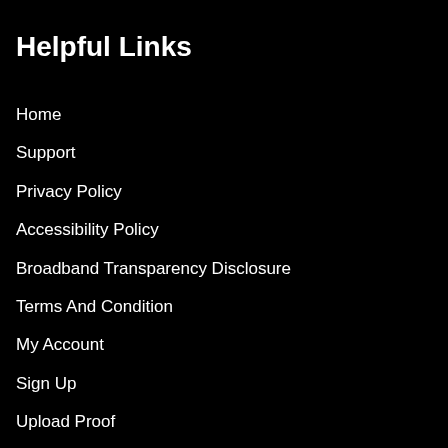Helpful Links
Home
Support
Privacy Policy
Accessibility Policy
Broadband Transparency Disclosure
Terms And Condition
My Account
Sign Up
Upload Proof
Check Status